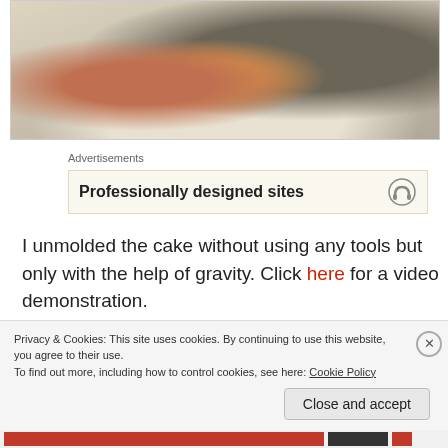[Figure (photo): A plate with bread/cake slices — dark grainy bread on the right, lighter orange/golden cake piece on the left, on a light ceramic plate]
Advertisements
[Figure (screenshot): Advertisement banner: 'Professionally designed sites' with a headphone/service icon on the right, on a cream background]
I unmolded the cake without using any tools but only with the help of gravity. Click here for a video demonstration.
EC□□□□□□□□□□□□□□□□□□□□□□□□□□□□□□□□□
Privacy & Cookies: This site uses cookies. By continuing to use this website, you agree to their use.
To find out more, including how to control cookies, see here: Cookie Policy
Close and accept